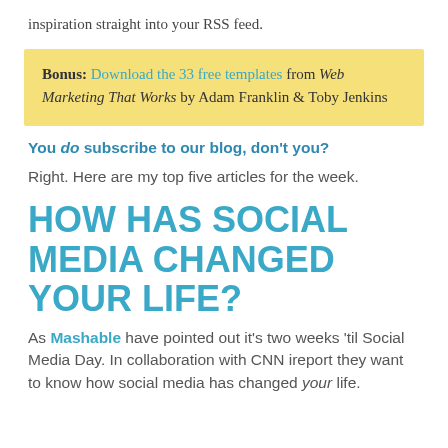inspiration straight into your RSS feed.
Bonus: Download the 33 free templates from Web Marketing That Works by Adam Franklin & Toby Jenkins
You do subscribe to our blog, don't you?
Right. Here are my top five articles for the week.
HOW HAS SOCIAL MEDIA CHANGED YOUR LIFE?
As Mashable have pointed out it's two weeks 'til Social Media Day. In collaboration with CNN ireport they want to know how social media has changed your life.